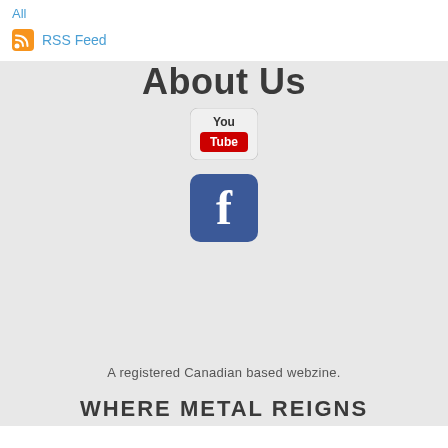All
RSS Feed
About Us
[Figure (logo): YouTube logo button — white rounded rectangle with 'You' on top and red 'Tube' tab below]
[Figure (logo): Facebook logo button — blue rounded square with white 'f' letter]
A registered Canadian based webzine.
WHERE METAL REIGNS